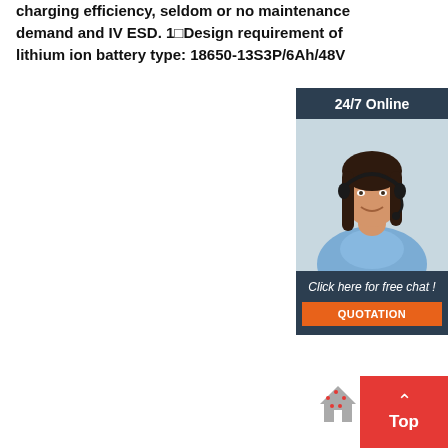charging efficiency, seldom or no maintenance demand and IV ESD. 1□Design requirement of lithium ion battery type: 18650-13S3P/6Ah/48V
[Figure (other): 24/7 Online customer support chat widget showing a woman with headset, 'Click here for free chat!' text, and an orange QUOTATION button on dark background]
[Figure (other): Red 'Top' scroll-to-top button with upward caret arrow, partially overlapping a small house/home icon]